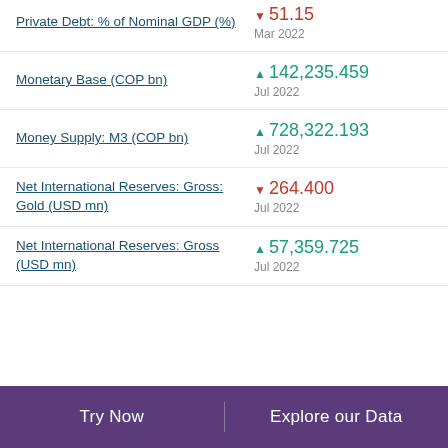Private Debt: % of Nominal GDP (%)
Monetary Base (COP bn)
Money Supply: M3 (COP bn)
Net International Reserves: Gross: Gold (USD mn)
Net International Reserves: Gross (USD mn)
Try Now | Explore our Data